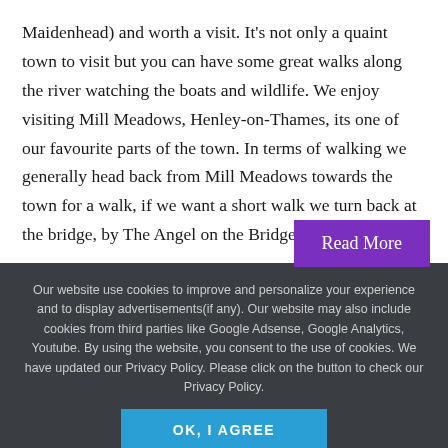Maidenhead) and worth a visit. It's not only a quaint town to visit but you can have some great walks along the river watching the boats and wildlife. We enjoy visiting Mill Meadows, Henley-on-Thames, its one of our favourite parts of the town. In terms of walking we generally head back from Mill Meadows towards the town for a walk, if we want a short walk we turn back at the bridge, by The Angel on the Bridge pub (this…
Read More
Our website use cookies to improve and personalize your experience and to display advertisements(if any). Our website may also include cookies from third parties like Google Adsense, Google Analytics, Youtube. By using the website, you consent to the use of cookies. We have updated our Privacy Policy. Please click on the button to check our Privacy Policy.
OK, I AGREE